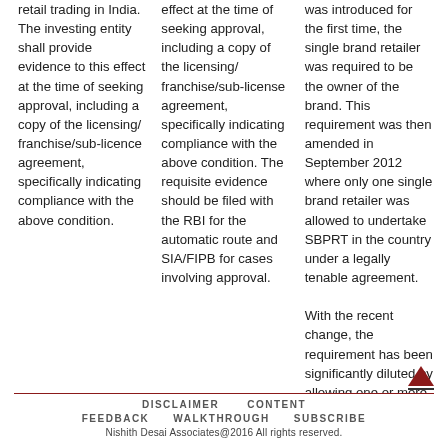retail trading in India. The investing entity shall provide evidence to this effect at the time of seeking approval, including a copy of the licensing/ franchise/sub-licence agreement, specifically indicating compliance with the above condition.
effect at the time of seeking approval, including a copy of the licensing/ franchise/sub-license agreement, specifically indicating compliance with the above condition. The requisite evidence should be filed with the RBI for the automatic route and SIA/FIPB for cases involving approval.
was introduced for the first time, the single brand retailer was required to be the owner of the brand. This requirement was then amended in September 2012 where only one single brand retailer was allowed to undertake SBPRT in the country under a legally tenable agreement.
With the recent change, the requirement has been significantly diluted by allowing one or more non-resident entities to undertake SBPRT of a specific brand provided they are owner of the
DISCLAIMER   CONTENT   FEEDBACK   WALKTHROUGH   SUBSCRIBE
Nishith Desai Associates@2016 All rights reserved.